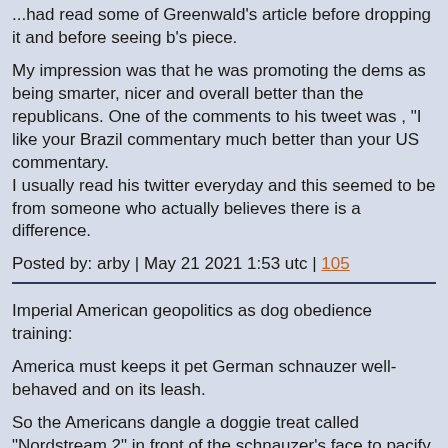...had read some of Greenwald's article before dropping it and before seeing b's piece.
My impression was that he was promoting the dems as being smarter, nicer and overall better than the republicans. One of the comments to his tweet was , "I like your Brazil commentary much better than your US commentary.
I usually read his twitter everyday and this seemed to be from someone who actually believes there is a difference.
Posted by: arby | May 21 2021 1:53 utc | 105
Imperial American geopolitics as dog obedience training:
America must keeps it pet German schnauzer well-behaved and on its leash.
So the Americans dangle a doggie treat called "Nordstream 2" in front of the schnauzer's face to pacify its urges to break free.
Sit, schnauzer, sit!
Good schnauzer. Good girl!
Posted by: ak74 | May 21 2021 2:12 utc | 106